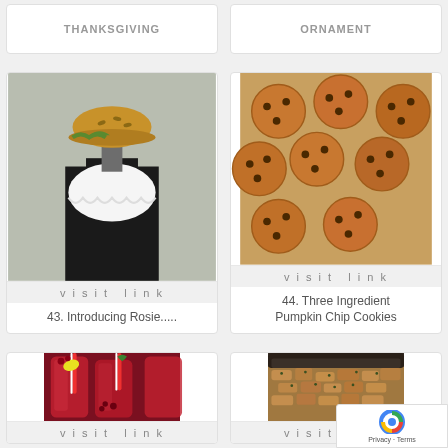THANKSGIVING
ORNAMENT
[Figure (photo): A mannequin wearing a black shirt with white lace bib collar and a hat shaped like a hamburger/sandwich]
visit link
43. Introducing Rosie.....
[Figure (photo): A tray of pumpkin chocolate chip cookies, golden brown, seen from above]
visit link
44. Three Ingredient Pumpkin Chip Cookies
[Figure (photo): Three glasses of red cranberry/raspberry drink with red-and-white striped straws and lemon wedges, garnished with berries and mint]
visit link
[Figure (photo): A slow cooker or crockpot filled with stuffing/dressing with herbs, seen from above]
visit link